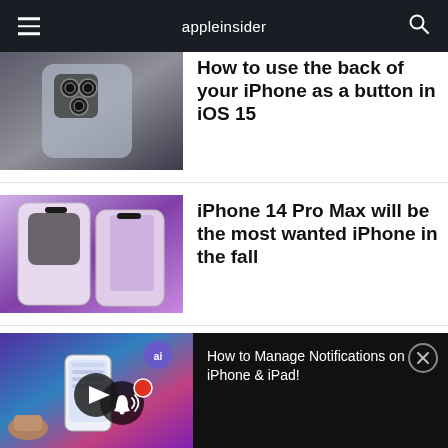appleinsider
[Figure (photo): Back of iPhone with triple camera system on wooden surface]
How to use the back of your iPhone as a button in iOS 15
[Figure (photo): iPhone 14 Pro Max renders in purple showing pill-shaped cutout]
iPhone 14 Pro Max will be the most wanted iPhone in the fall
[Figure (screenshot): AppleInsider video thumbnail showing iPhone with notifications screen and play button]
How to Manage Notifications on iPhone & iPad!